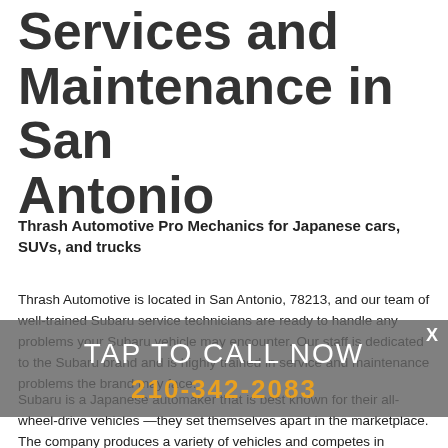Services and Maintenance in San Antonio
Thrash Automotive Pro Mechanics for Japanese cars, SUVs, and trucks
Thrash Automotive is located in San Antonio, 78213, and our team of well-trained Subaru service technicians are ready to handle any problems your Subaru vehicle may encounter. Our staff is dedicated to the Subaru brand and is highly trained in service and maintenance problems the brand may face.
Subaru is a Japanese automaker that is best known for their all-wheel-drive vehicles —they set themselves apart in the marketplace. The company produces a variety of vehicles and competes in motorsport series around the world. Its most popular vehicle is the WRX STI, which